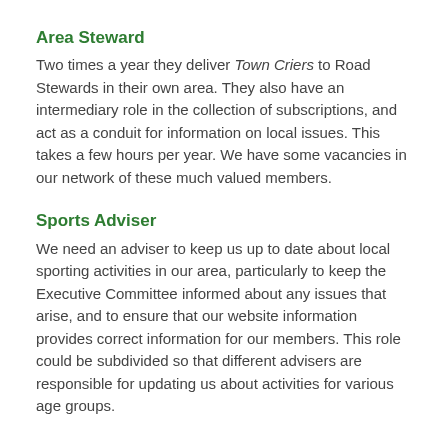Area Steward
Two times a year they deliver Town Criers to Road Stewards in their own area. They also have an intermediary role in the collection of subscriptions, and act as a conduit for information on local issues. This takes a few hours per year. We have some vacancies in our network of these much valued members.
Sports Adviser
We need an adviser to keep us up to date about local sporting activities in our area, particularly to keep the Executive Committee informed about any issues that arise, and to ensure that our website information provides correct information for our members. This role could be subdivided so that different advisers are responsible for updating us about activities for various age groups.